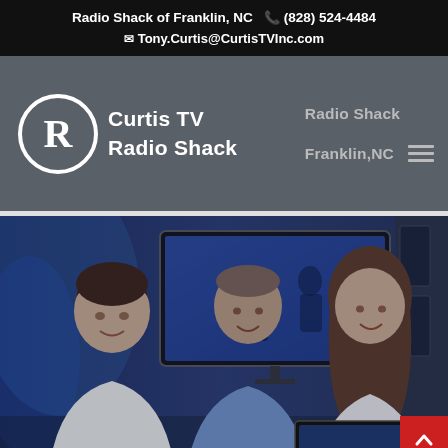Radio Shack of Franklin, NC  📞 (828) 524-4484  ✉ Tony.Curtis@CurtisTVInc.com
[Figure (logo): Curtis TV Radio Shack logo with registered trademark circle and R symbol, white text on gray background, with navigation links 'Radio Shack' and 'Franklin, NC' and hamburger menu icon on the right]
[Figure (photo): Three young adults in a retail electronics store environment, smiling and looking at something together, with large flat screen TVs visible in the background, blue-tinted lighting]